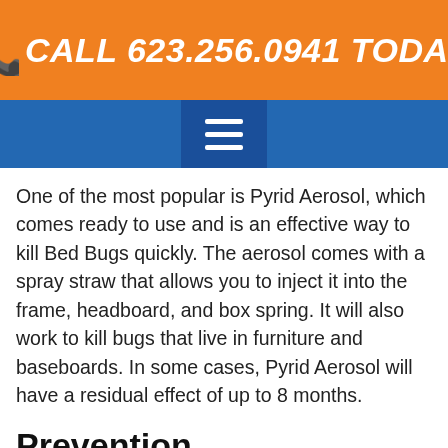CALL 623.256.0941 TODAY!
[Figure (other): Blue navigation bar with hamburger menu icon]
One of the most popular is Pyrid Aerosol, which comes ready to use and is an effective way to kill Bed Bugs quickly. The aerosol comes with a spray straw that allows you to inject it into the frame, headboard, and box spring. It will also work to kill bugs that live in furniture and baseboards. In some cases, Pyrid Aerosol will have a residual effect of up to 8 months.
Prevention
The first step to prevent the infestation of bedbugs is to inspect your room. Whether your room has worn spots or stains, bedbugs can hide in these places. Make sure